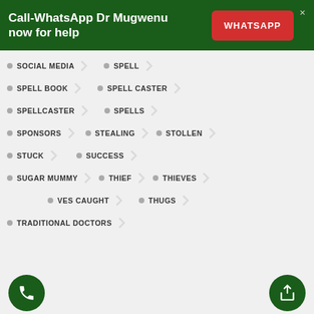Call-WhatsApp Dr Mugwenu now for help
SOCIAL MEDIA
SPELL
SPELL BOOK
SPELL CASTER
SPELLCASTER
SPELLS
SPONSORS
STEALING
STOLLEN
STUCK
SUCCESS
SUGAR MUMMY
THIEF
THIEVES
THIEVES CAUGHT
THUGS
TRADITIONAL DOCTORS